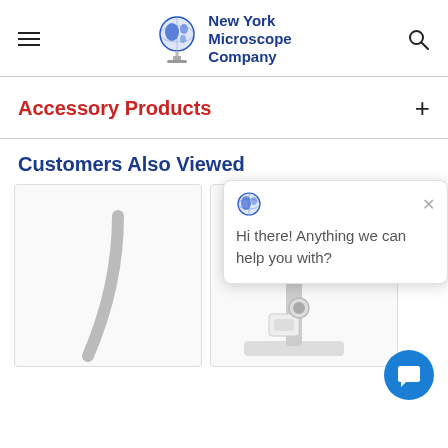New York Microscope Company
Accessory Products
Customers Also Viewed
[Figure (screenshot): Chat popup widget with globe icon, close button, and message: Hi there! Anything we can help you with?]
[Figure (photo): Product image placeholder - curved equipment part on white background]
[Figure (photo): Product image - microscope with camera attachment on white background]